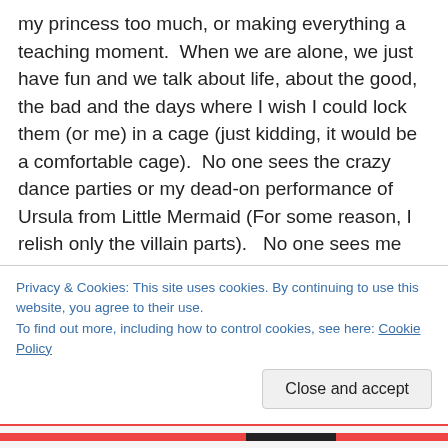my princess too much, or making everything a teaching moment.  When we are alone, we just have fun and we talk about life, about the good, the bad and the days where I wish I could lock them (or me) in a cage (just kidding, it would be a comfortable cage).  No one sees the crazy dance parties or my dead-on performance of Ursula from Little Mermaid (For some reason, I relish only the villain parts).   No one sees me struggling through a how to defend yourself from other stupid, mean kids discussion with my 6 year old, who's just finding out there are actually people out there who don't completely adore him.  No one
Privacy & Cookies: This site uses cookies. By continuing to use this website, you agree to their use.
To find out more, including how to control cookies, see here: Cookie Policy
Close and accept